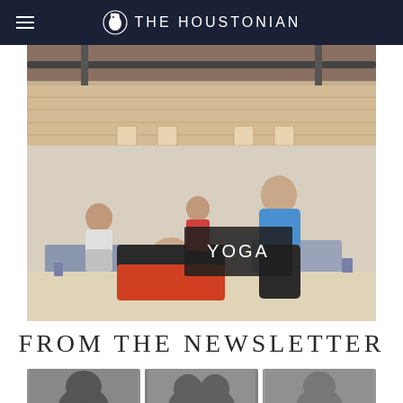The Houstonian
[Figure (photo): Photo of Pilates/gym equipment, wooden floor and exercise machines visible from above]
[Figure (photo): Yoga class photo showing a yoga instructor in blue top assisting a student in black top and red pants on a mat, with other students practicing in background. A dark overlay label reads YOGA.]
FROM THE NEWSLETTER
[Figure (photo): Bottom strip of three black and white portrait photos showing tops of people's heads]